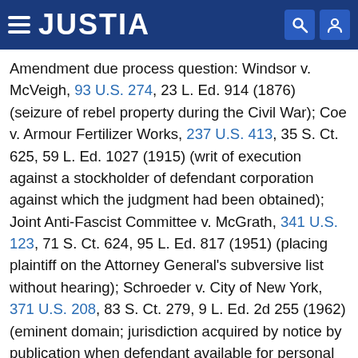JUSTIA
Amendment due process question: Windsor v. McVeigh, 93 U.S. 274, 23 L. Ed. 914 (1876) (seizure of rebel property during the Civil War); Coe v. Armour Fertilizer Works, 237 U.S. 413, 35 S. Ct. 625, 59 L. Ed. 1027 (1915) (writ of execution against a stockholder of defendant corporation against which the judgment had been obtained); Joint Anti-Fascist Committee v. McGrath, 341 U.S. 123, 71 S. Ct. 624, 95 L. Ed. 817 (1951) (placing plaintiff on the Attorney General's subversive list without hearing); Schroeder v. City of New York, 371 U.S. 208, 83 S. Ct. 279, 9 L. Ed. 2d 255 (1962) (eminent domain; jurisdiction acquired by notice by publication when defendant available for personal service); Sniadach v. Family Finance Corp., 395 U.S. 337, 89 S. Ct. 1820, 23 L. Ed. 2d 349 (1969) (garnishment of one-half salary without notice under Wisconsin statute), and Goldberg v. Kelly, 397 U.S. 254, 90 S. Ct. 1011, 25 L. Ed. 2d 287